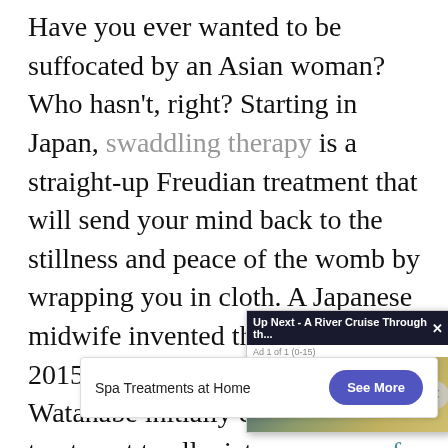Have you ever wanted to be suffocated by an Asian woman? Who hasn't, right? Starting in Japan, swaddling therapy is a straight-up Freudian treatment that will send your mind back to the stillness and peace of the womb by wrapping you in cloth. A Japanese midwife invented the therapy in 2015. According to Vice, "Nobuko Watanabe initially created the treatment to alleviate concerns of parents who worried that the sw[addling] practice known as O[to...] the babies feeling c[...] of Oto[maki] swaddling." I promis[e...]
[Figure (screenshot): Video ad popup overlay: 'Up Next - A River Cruise Through th...' with thumbnail of sky/clouds scene, mute button, ad label 'Ad 1 of 1 (0-15)', and close button]
[Figure (screenshot): Bottom banner ad: 'Spa Treatments at Home' with 'See More' blue pill button]